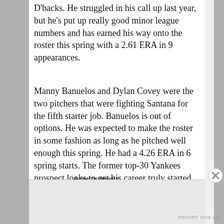D'backs. He struggled in his call up last year, but he's put up really good minor league numbers and has earned his way onto the roster this spring with a 2.61 ERA in 9 appearances.
Manny Banuelos and Dylan Covey were the two pitchers that were fighting Santana for the fifth starter job. Banuelos is out of options. He was expected to make the roster in some fashion as long as he pitched well enough this spring. He had a 4.26 ERA in 6 spring starts. The former top-30 Yankees prospect looks to get his career truly started after pitching poorly and dealing with injuries in years past. Like Banuelos, Covey will be used in a long relief type
Advertisements